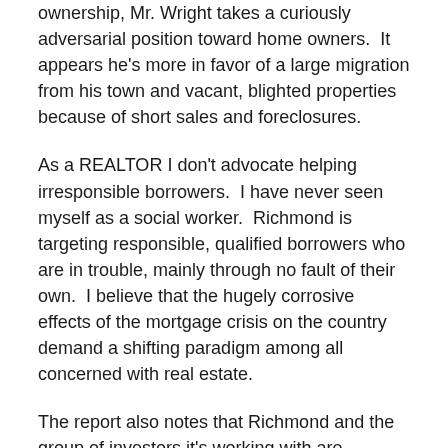ownership, Mr. Wright takes a curiously adversarial position toward home owners.  It appears he's more in favor of a large migration from his town and vacant, blighted properties because of short sales and foreclosures.
As a REALTOR I don't advocate helping irresponsible borrowers.  I have never seen myself as a social worker.  Richmond is targeting responsible, qualified borrowers who are in trouble, mainly through no fault of their own.  I believe that the hugely corrosive effects of the mortgage crisis on the country demand a shifting paradigm among all concerned with real estate.
The report also notes that Richmond and the group of investors it's working with are targeting 624 underwater Richmond borrowers who have what's known as private